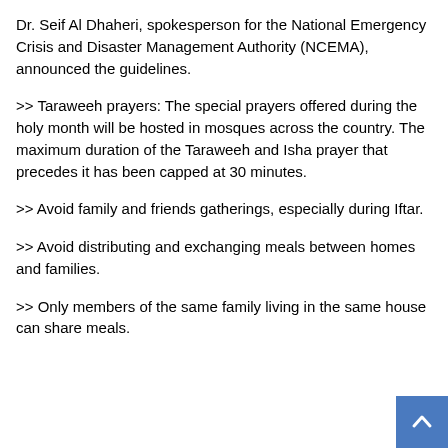Dr. Seif Al Dhaheri, spokesperson for the National Emergency Crisis and Disaster Management Authority (NCEMA), announced the guidelines.
>> Taraweeh prayers: The special prayers offered during the holy month will be hosted in mosques across the country. The maximum duration of the Taraweeh and Isha prayer that precedes it has been capped at 30 minutes.
>> Avoid family and friends gatherings, especially during Iftar.
>> Avoid distributing and exchanging meals between homes and families.
>> Only members of the same family living in the same house can share meals.